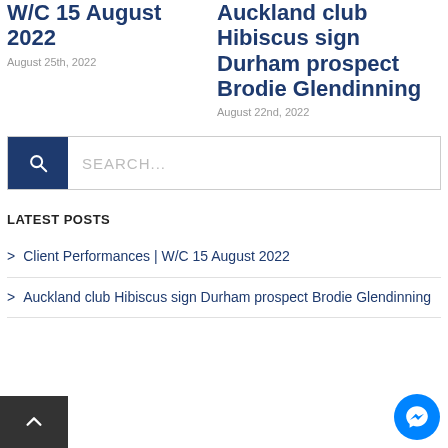W/C 15 August 2022
August 25th, 2022
Auckland club Hibiscus sign Durham prospect Brodie Glendinning
August 22nd, 2022
[Figure (other): Search box with magnifying glass icon and placeholder text SEARCH...]
LATEST POSTS
Client Performances | W/C 15 August 2022
Auckland club Hibiscus sign Durham prospect Brodie Glendinning